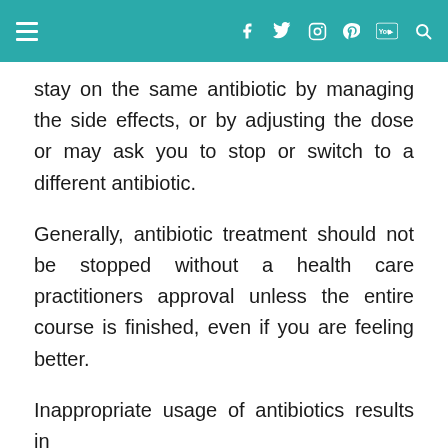Navigation bar with hamburger menu, Facebook, Twitter, Instagram, Pinterest, YouTube, and Search icons
stay on the same antibiotic by managing the side effects, or by adjusting the dose or may ask you to stop or switch to a different antibiotic.
Generally, antibiotic treatment should not be stopped without a health care practitioners approval unless the entire course is finished, even if you are feeling better.
Inappropriate usage of antibiotics results in...